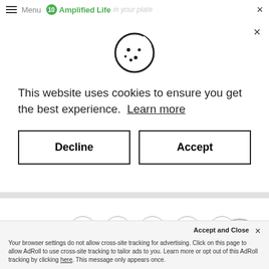Menu Amplified Life in your plate
[Figure (illustration): Cookie icon - a circle with a bite taken out and dots on it]
This website uses cookies to ensure you get the best experience.  Learn more
Decline
Accept
Share:
[Figure (illustration): Share icons: Twitter, Facebook, Pinterest, Google+, Send/Email — each in a circle. Scroll-to-top arrow circle button.]
Accept and Close
Your browser settings do not allow cross-site tracking for advertising. Click on this page to allow AdRoll to use cross-site tracking to tailor ads to you. Learn more or opt out of this AdRoll tracking by clicking here. This message only appears once.